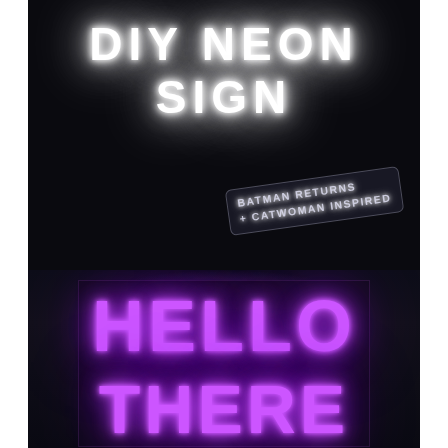DIY NEON SIGN
BATMAN RETURNS + CATWOMAN INSPIRED
[Figure (photo): Dark room photograph showing a DIY neon sign spelling 'HELLO THERE' in glowing purple neon light tubes mounted on a dark panel/board, Batman Returns and Catwoman inspired.]